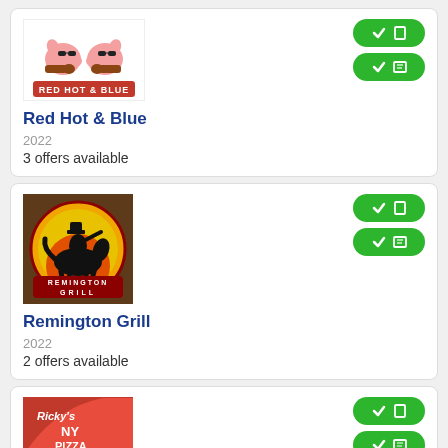[Figure (logo): Red Hot & Blue restaurant logo with cartoon pigs playing guitar]
Red Hot & Blue
2022
3 offers available
[Figure (logo): Remington Grill restaurant logo with cowboy on bucking horse against sunset]
Remington Grill
2022
2 offers available
[Figure (logo): Ricky's NY Pizza restaurant logo]
2022
2 offers available